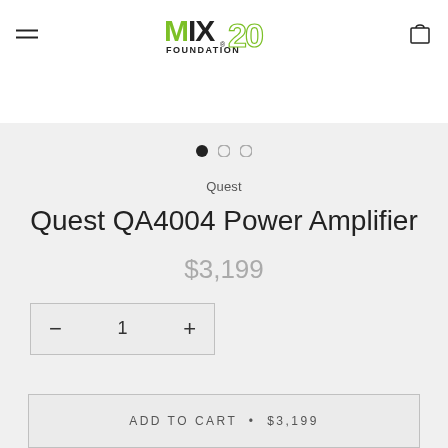MIX FOUNDATION 20 — navigation header with logo and cart
[Figure (other): Carousel navigation dots: one filled (active), two empty]
Quest
Quest QA4004 Power Amplifier
$3,199
− 1 +
ADD TO CART • $3,199